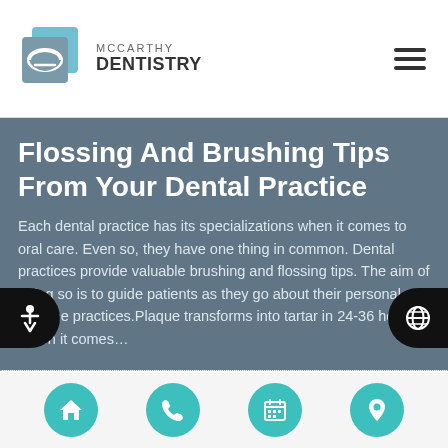McCarthy Dentistry
Flossing And Brushing Tips From Your Dental Practice
Each dental practice has its specializations when it comes to oral care. Even so, they have one thing in common. Dental practices provide valuable brushing and flossing tips. The aim of doing so is to guide patients as they go about their personal oral hygiene practices.Plaque transforms into tartar in 24-36 hours. When it comes…
[Figure (photo): Pink background with toothbrush and toothpaste tubes]
Navigation bar with home, phone, calendar, and location icons